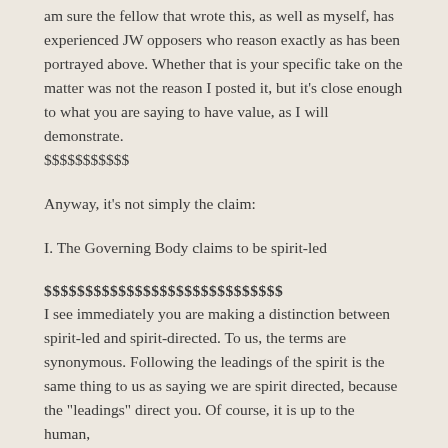am sure the fellow that wrote this, as well as myself, has experienced JW opposers who reason exactly as has been portrayed above. Whether that is your specific take on the matter was not the reason I posted it, but it's close enough to what you are saying to have value, as I will demonstrate. $$$$$$$$$$$
Anyway, it's not simply the claim:
I. The Governing Body claims to be spirit-led
$$$$$$$$$$$$$$$$$$$$$$$$$$$$$
I see immediately you are making a distinction between spirit-led and spirit-directed. To us, the terms are synonymous. Following the leadings of the spirit is the same thing to us as saying we are spirit directed, because the “leadings” direct you. Of course, it is up to the human,